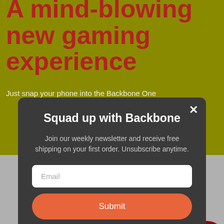A mind-blowing new gaming experience
Just snap your phone into the Backbone One
Squad up with Backbone
Join our weekly newsletter and receive free shipping on your first order. Unsubscribe anytime.
Email
Submit